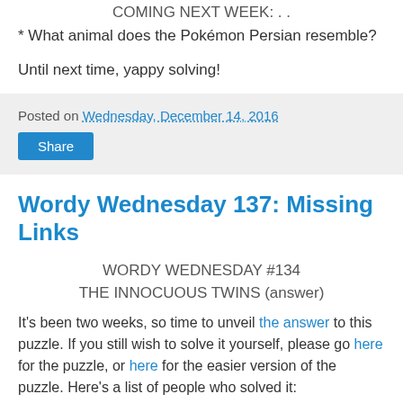COMING NEXT WEEK: . .
* What animal does the Pokémon Persian resemble?
Until next time, yappy solving!
Posted on Wednesday, December 14, 2016
Share
Wordy Wednesday 137: Missing Links
WORDY WEDNESDAY #134
THE INNOCUOUS TWINS (answer)
It's been two weeks, so time to unveil the answer to this puzzle. If you still wish to solve it yourself, please go here for the puzzle, or here for the easier version of the puzzle. Here's a list of people who solved it:
Anthony Bailey *
Edderiofer He **
Giovanni Pagano **